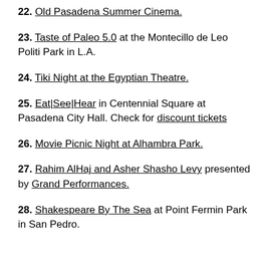22. Old Pasadena Summer Cinema.
23. Taste of Paleo 5.0 at the Montecillo de Leo Politi Park in L.A.
24. Tiki Night at the Egyptian Theatre.
25. Eat|See|Hear in Centennial Square at Pasadena City Hall. Check for discount tickets
26. Movie Picnic Night at Alhambra Park.
27. Rahim AlHaj and Asher Shasho Levy presented by Grand Performances.
28. Shakespeare By The Sea at Point Fermin Park in San Pedro.